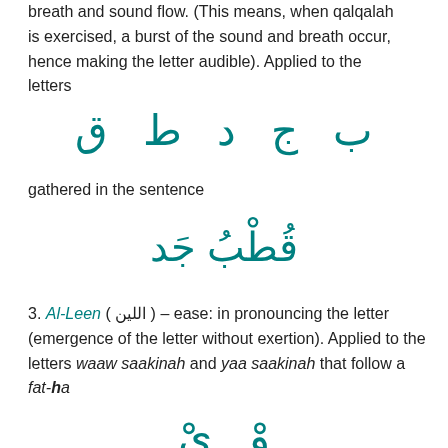breath and sound flow. (This means, when qalqalah is exercised, a burst of the sound and breath occur, hence making the letter audible). Applied to the letters
[Figure (other): Arabic letters: ب ج د ط ق displayed in teal, large font, centered]
gathered in the sentence
[Figure (other): Arabic text: قُطْبُ جَد displayed in teal, large font, centered]
3. Al-Leen ( اللين ) – ease: in pronouncing the letter (emergence of the letter without exertion). Applied to the letters waaw saakinah and yaa saakinah that follow a fat-ha
[Figure (other): Arabic letters: و ي displayed in teal, large font, centered, partially visible at bottom]